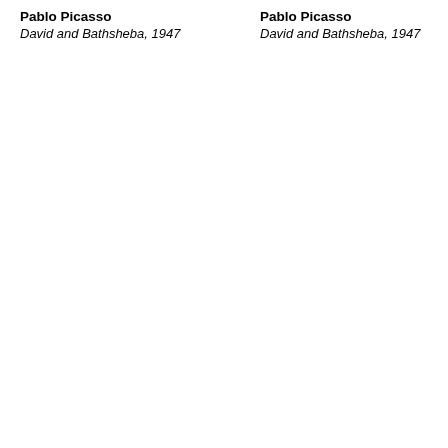Pablo Picasso
David and Bathsheba, 1947
Pablo Picasso
David and Bathsheba, 1947